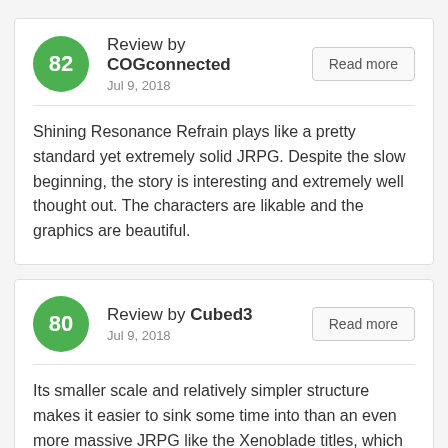Review by COGconnected — Jul 9, 2018
Shining Resonance Refrain plays like a pretty standard yet extremely solid JRPG. Despite the slow beginning, the story is interesting and extremely well thought out. The characters are likable and the graphics are beautiful.
Review by Cubed3 — Jul 9, 2018
Its smaller scale and relatively simpler structure makes it easier to sink some time into than an even more massive JRPG like the Xenoblade titles, which may be more intimidating as a result of their